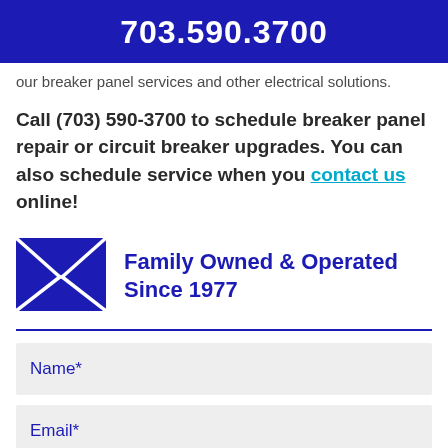703.590.3700
our breaker panel services and other electrical solutions.
Call (703) 590-3700 to schedule breaker panel repair or circuit breaker upgrades. You can also schedule service when you contact us online!
[Figure (illustration): Blue envelope/mail icon]
Family Owned & Operated Since 1977
Name*
Email*